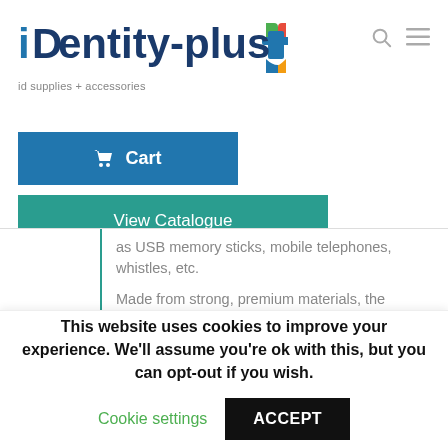[Figure (logo): iDentity-plus logo with colorful cross icon, tagline: id supplies + accessories]
Cart
View Catalogue
as USB memory sticks, mobile telephones, whistles, etc.
Made from strong, premium materials, the breakaway clip will only break when you need it to.  This allows for
This website uses cookies to improve your experience. We'll assume you're ok with this, but you can opt-out if you wish.
Cookie settings
ACCEPT